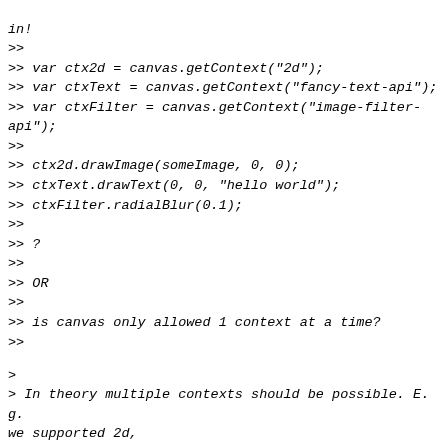>> in!
>>
>> var ctx2d = canvas.getContext("2d");
>> var ctxText = canvas.getContext("fancy-text-api");
>> var ctxFilter = canvas.getContext("image-filter-
api");
>>
>> ctx2d.drawImage(someImage, 0, 0);
>> ctxText.drawText(0, 0, "hello world");
>> ctxFilter.radialBlur(0.1);
>>
>> ?
>>
>> OR
>>
>> is canvas only allowed 1 context at a time?
>>
>
> In theory multiple contexts should be possible. E.g. we supported 2d,
> opera-2dgame, and opera-3d for a while. However it seems that for certain
> contexts, in particular webgl, using it together with other contexts is not
> possible (for now anyway).
>
>
Is disallowing other contexts when certain contexts, eg "webgl", okay or is
that really an incompatible extension of the canvas
ta.?